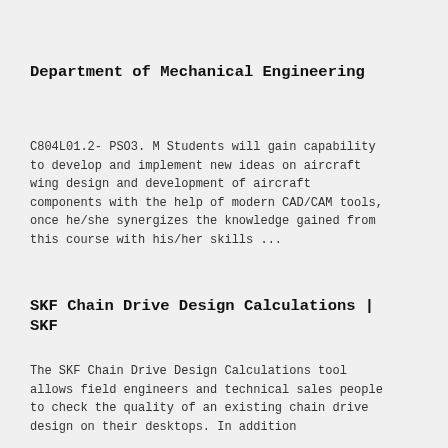Department of Mechanical Engineering
C804L01.2- PSO3. M Students will gain capability to develop and implement new ideas on aircraft wing design and development of aircraft components with the help of modern CAD/CAM tools, once he/she synergizes the knowledge gained from this course with his/her skills ...
SKF Chain Drive Design Calculations | SKF
The SKF Chain Drive Design Calculations tool allows field engineers and technical sales people to check the quality of an existing chain drive design on their desktops. In addition